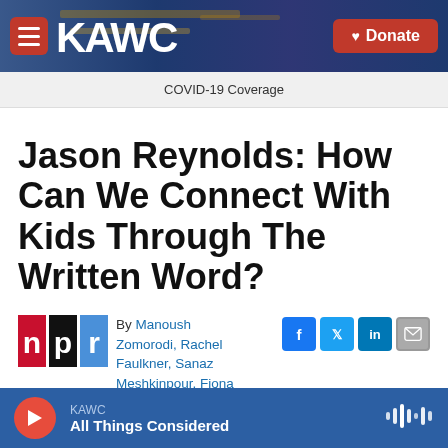[Figure (screenshot): KAWC radio station website header with logo, hamburger menu, and red Donate button over a nighttime photo of a highway sign]
COVID-19 Coverage
Jason Reynolds: How Can We Connect With Kids Through The Written Word?
By Manoush Zomorodi, Rachel Faulkner, Sanaz Meshkinpour, Fiona
[Figure (logo): NPR logo — red, black, white blocks spelling n p r]
KAWC
All Things Considered